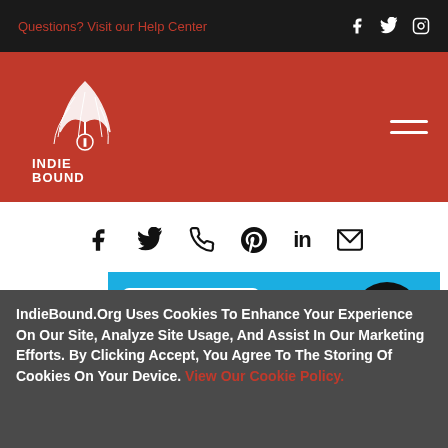Questions? Visit our Help Center
[Figure (logo): IndieBound logo on red header bar with hamburger menu icon]
[Figure (infographic): Social share icons row: Facebook, Twitter, WhatsApp, Pinterest, LinkedIn, Email]
[Figure (illustration): Book cover with blue background showing: NEW, UPDATED, EXPANDED SECOND EDITION badge, Zero Books circular logo, author name YOUSSEF EL-GINGIHY in bold black uppercase]
IndieBound.Org Uses Cookies To Enhance Your Experience On Our Site, Analyze Site Usage, And Assist In Our Marketing Efforts. By Clicking Accept, You Agree To The Storing Of Cookies On Your Device. View Our Cookie Policy.